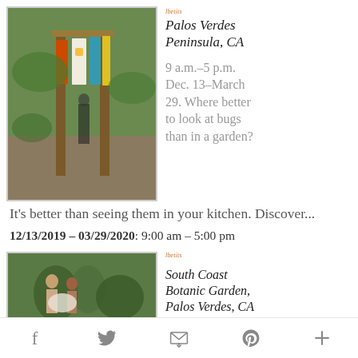[Figure (photo): Wooden display rack with colorful signs/cards hanging from it, in an outdoor garden setting]
Palos Verdes Peninsula, CA
9 a.m.–5 p.m. Dec. 13–March 29. Where better to look at bugs than in a garden? It's better than seeing them in your kitchen. Discover...
12/13/2019 – 03/29/2020: 9:00 am – 5:00 pm
[Figure (photo): People looking at something outdoors in a garden setting]
South Coast Botanic Garden, Palos Verdes, CA
f  Twitter  Email  Pinterest  +